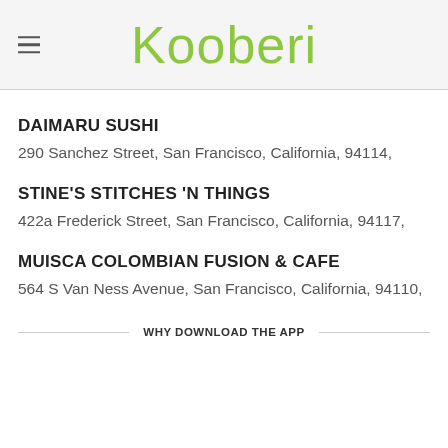Kooberi
DAIMARU SUSHI
290 Sanchez Street, San Francisco, California, 94114,
STINE'S STITCHES 'N THINGS
422a Frederick Street, San Francisco, California, 94117,
MUISCA COLOMBIAN FUSION & CAFE
564 S Van Ness Avenue, San Francisco, California, 94110,
WHY DOWNLOAD THE APP